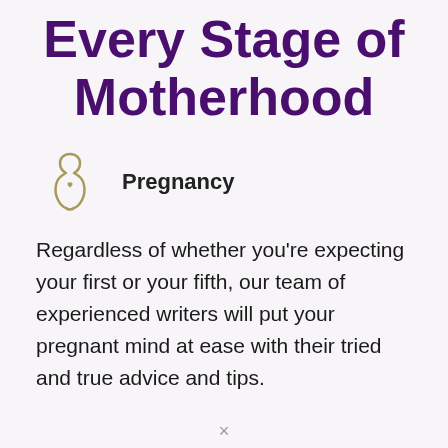Every Stage of Motherhood
[Figure (illustration): Outline icon of a pregnant woman silhouette with a small heart shape on the belly, drawn in olive/tan color]
Pregnancy
Regardless of whether you're expecting your first or your fifth, our team of experienced writers will put your pregnant mind at ease with their tried and true advice and tips.
×